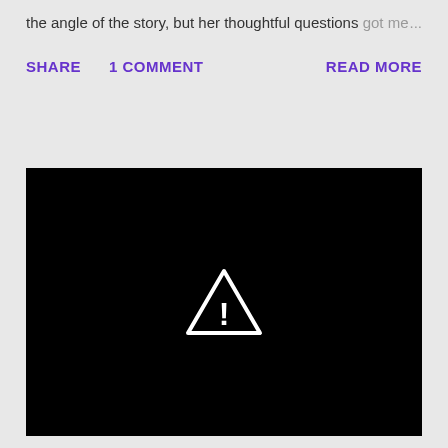the angle of the story, but her thoughtful questions got me ...
SHARE   1 COMMENT   READ MORE
[Figure (screenshot): Black video player area with a white warning triangle exclamation mark icon in the center, indicating an error or unavailable video.]